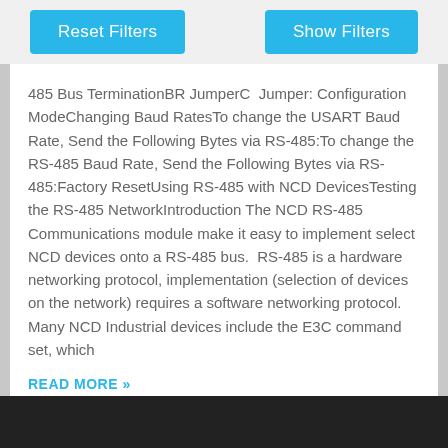Reset Filters | Show Filters
485 Bus TerminationBR JumperC  Jumper: Configuration ModeChanging Baud RatesTo change the USART Baud Rate, Send the Following Bytes via RS-485:To change the RS-485 Baud Rate, Send the Following Bytes via RS-485:Factory ResetUsing RS-485 with NCD DevicesTesting the RS-485 NetworkIntroduction The NCD RS-485 Communications module make it easy to implement select NCD devices onto a RS-485 bus.  RS-485 is a hardware networking protocol, implementation (selection of devices on the network) requires a software networking protocol.  Many NCD Industrial devices include the E3C command set, which
READ MORE »